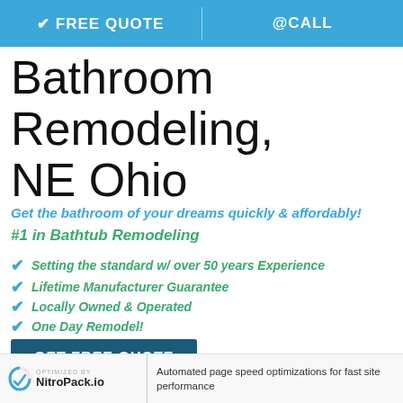✔ FREE QUOTE   @CALL
Bathroom Remodeling, NE Ohio
Get the bathroom of your dreams quickly & affordably!
#1 in Bathtub Remodeling
Setting the standard w/ over 50 years Experience
Lifetime Manufacturer Guarantee
Locally Owned & Operated
One Day Remodel!
GET FREE QUOTE
OPTIMIZED BY NitroPack.io   Automated page speed optimizations for fast site performance